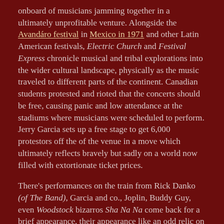onboard of musicians jamming together in a ultimately unprofitable venture. Alongside the Avandáro festival in Mexico in 1971 and other Latin American festivals, Electric Church and Festival Express chronicle musical and tribal explorations into the wider cultural landscape, physically as the music traveled to different parts of the continent. Canadian students protested and rioted that the concerts should be free, causing panic and low attendance at the stadiums where musicians were scheduled to perform. Jerry Garcia sets up a free stage to get 6,000 protestors off the of the venue in a move which ultimately reflects bravely but sadly on a world now filled with extortionate ticket prices.
There's performances on the train from Rick Danko (of The Band), Garcia and co., Joplin, Buddy Guy, even Woodstock bizarros Sha Na Na come back for a brief appearance, their appearance like an odd relic on the horizon of rock n roll's decline from the top of the sun. Janis then, is such a deep return to that sun setting, as Hendrix's 'Electric Church' was quietened upon his death.